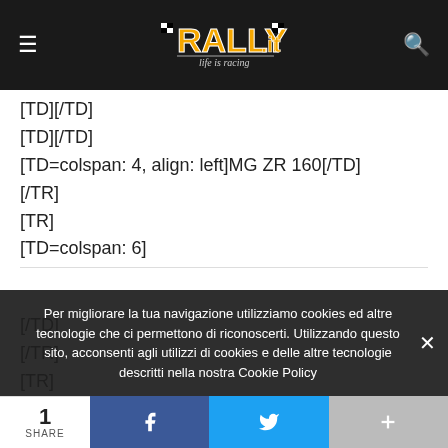Rally.it — life is racing
[TD][/TD]
[TD][/TD]
[TD=colspan: 4, align: left]MG ZR 160[/TD]
[/TR]
[TR]
[TD=colspan: 6]
[/TD]
[/TR]
[TR]
Per migliorare la tua navigazione utilizziamo cookies ed altre tecnologie che ci permettono di riconoscerti. Utilizzando questo sito, acconsenti agli utilizzi di cookies e delle altre tecnologie descritti nella nostra Cookie Policy
1 SHARE